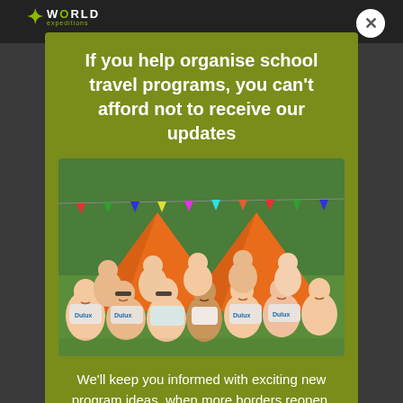WORLD expeditions
If you help organise school travel programs, you can't afford not to receive our updates
[Figure (photo): Group of teenagers and a young local boy sitting on grass in front of orange tents with colorful prayer flags, wearing Dulux branded t-shirts, smiling and posing for the camera.]
We'll keep you informed with exciting new program ideas, when more borders reopen, trending topics and more so you can focus on teaching. Make your life easier by signing